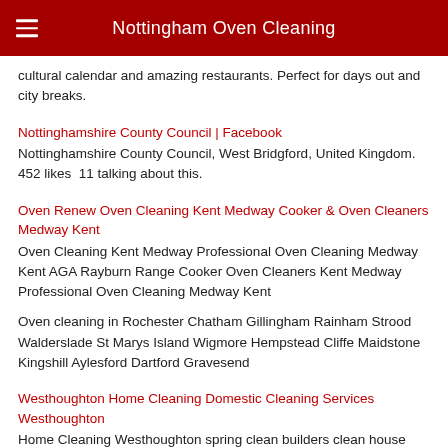Nottingham Oven Cleaning
cultural calendar and amazing restaurants. Perfect for days out and city breaks.
Nottinghamshire County Council | Facebook
Nottinghamshire County Council, West Bridgford, United Kingdom. 452 likes  11 talking about this.
Oven Renew Oven Cleaning Kent Medway Cooker & Oven Cleaners Medway Kent
Oven Cleaning Kent Medway Professional Oven Cleaning Medway Kent AGA Rayburn Range Cooker Oven Cleaners Kent Medway Professional Oven Cleaning Medway Kent
Oven cleaning in Rochester Chatham Gillingham Rainham Strood Walderslade St Marys Island Wigmore Hempstead Cliffe Maidstone Kingshill Aylesford Dartford Gravesend
Westhoughton Home Cleaning Domestic Cleaning Services Westhoughton
Home Cleaning Westhoughton spring clean builders clean house